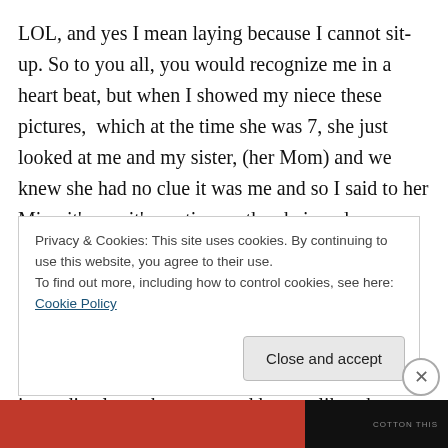LOL, and yes I mean laying because I cannot sit-up. So to you all, you would recognize me in a heart beat, but when I showed my niece these pictures,  which at the time she was 7, she just looked at me and my sister, (her Mom) and we knew she had no clue it was me and so I said to her Mira, it's me, it's auntie, see the chair and see my arms and I kept pointing out the things that would be most obvious to us, because let's be honest when we see people we see the flaws before anything else, we see their diseases before anything else, and when this happened the Lord immediately spoke to me and he was like, she
Privacy & Cookies: This site uses cookies. By continuing to use this website, you agree to their use.
To find out more, including how to control cookies, see here: Cookie Policy